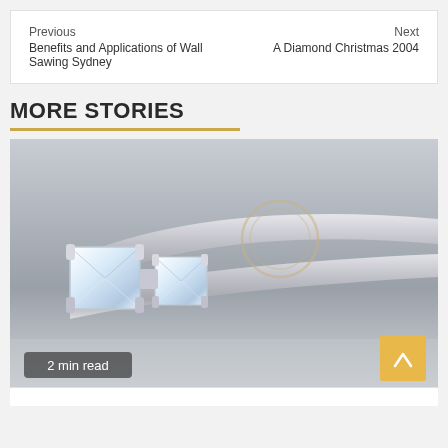Previous
Benefits and Applications of Wall Sawing Sydney
Next
A Diamond Christmas 2004
MORE STORIES
[Figure (photo): Close-up photo of a white gold diamond engagement ring with three princess-cut diamonds, shown in side profile against a gray background. A play button circle watermark appears in the center. Badge reads '2 min read'. A gold scroll-to-top button is in the bottom-right corner.]